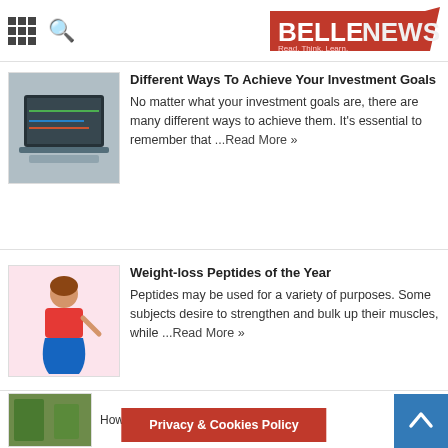BELLENEWS — Read. Think. Learn.
Different Ways To Achieve Your Investment Goals
No matter what your investment goals are, there are many different ways to achieve them. It's essential to remember that ...Read More »
Weight-loss Peptides of the Year
Peptides may be used for a variety of purposes. Some subjects desire to strengthen and bulk up their muscles, while ...Read More »
How to Increase...den
Privacy & Cookies Policy